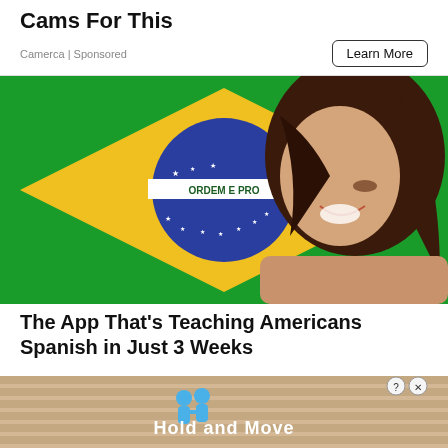Cams For This
Camerca | Sponsored
Learn More
[Figure (photo): Woman smiling with Brazilian flag background showing green flag with yellow diamond and blue globe with ORDEM E PROGRESSO text]
The App That's Teaching Americans Spanish in Just 3 Weeks
[Figure (screenshot): Bottom banner ad showing two blue figures holding hands icon with text 'Hold and Move' on a beige/tan striped background with close and question mark buttons]